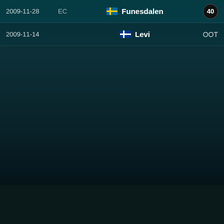| Date | Type | Flag | Location | Result |
| --- | --- | --- | --- | --- |
| 2009-11-28 | EC | SE | Funesdalen | 40 |
| 2009-11-14 |  | FI | Levi | OOT |